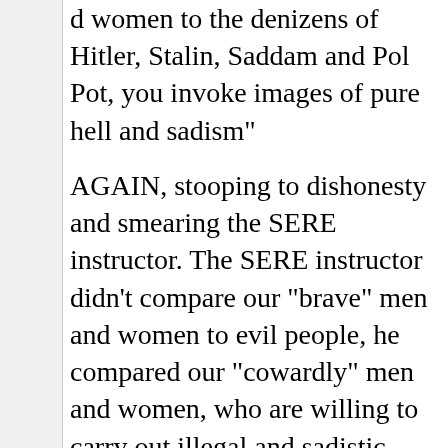d women to the denizens of Hitler, Stalin, Saddam and Pol Pot, you invoke images of pure hell and sadism"
AGAIN, stooping to dishonesty and smearing the SERE instructor. The SERE instructor didn't compare our "brave" men and women to evil people, he compared our "cowardly" men and women, who are willing to carry out illegal and sadistic orders for expediency, and that is exactly 100% the truth - though you may not like it. The "brave", patriotic Americans are the men like Malcom Nance, who stand up for what is right.
Nuzzo: "In conclusion, your piece is interesting, but at worst vile and at best terribly misguided. I am almost entirely certain that in your case it is the latter. Sadly, tha